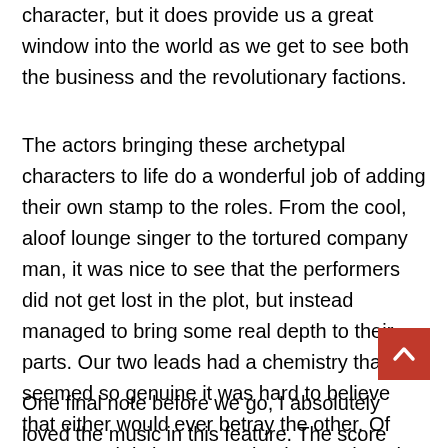character, but it does provide us a great window into the world as we get to see both the business and the revolutionary factions.
The actors bringing these archetypal characters to life do a wonderful job of adding their own stamp to the roles. From the cool, aloof lounge singer to the tortured company man, it was nice to see that the performers did not get lost in the plot, but instead managed to bring some real depth to their parts. Our two leads had a chemistry that seemed so genuine it was hard to believe that either would ever betray the other. Of course, noir is in no way simple, so when the various turns of the plot came about it was a delight to see them handle their shifting motivations just as well as they portrayed their chemistry.
One final note before we go, I absolutely loved the music in this feature. The score itself has a nice beat to it that is